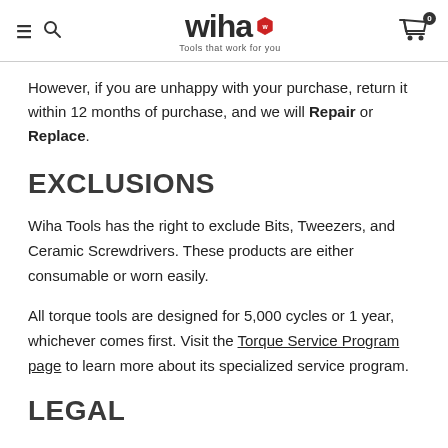wiha Tools that work for you
However, if you are unhappy with your purchase, return it within 12 months of purchase, and we will Repair or Replace.
EXCLUSIONS
Wiha Tools has the right to exclude Bits, Tweezers, and Ceramic Screwdrivers. These products are either consumable or worn easily.
All torque tools are designed for 5,000 cycles or 1 year, whichever comes first. Visit the Torque Service Program page to learn more about its specialized service program.
LEGAL